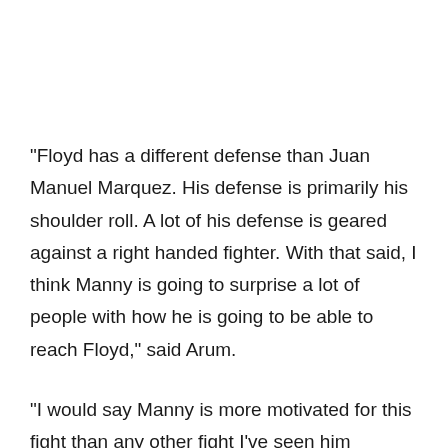“Floyd has a different defense than Juan Manuel Marquez. His defense is primarily his shoulder roll. A lot of his defense is geared against a right handed fighter. With that said, I think Manny is going to surprise a lot of people with how he is going to be able to reach Floyd,” said Arum.
“I would say Manny is more motivated for this fight than any other fight I’ve seen him prepare for.